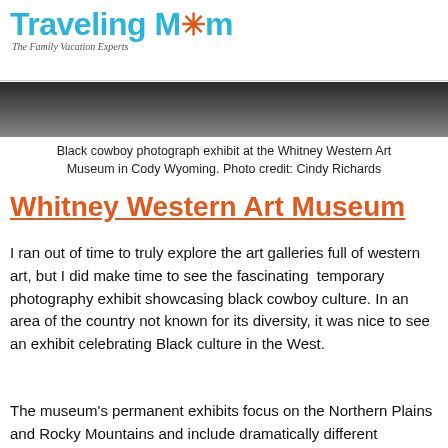TravelingMom — The Family Vacation Experts
[Figure (photo): Partial black and white photograph strip, appearing to be part of a black cowboy photograph exhibit]
Black cowboy photograph exhibit at the Whitney Western Art Museum in Cody Wyoming. Photo credit: Cindy Richards
Whitney Western Art Museum
I ran out of time to truly explore the art galleries full of western art, but I did make time to see the fascinating  temporary photography exhibit showcasing black cowboy culture. In an area of the country not known for its diversity, it was nice to see an exhibit celebrating Black culture in the West.
The museum's permanent exhibits focus on the Northern Plains and Rocky Mountains and include dramatically different depictions of American Indian